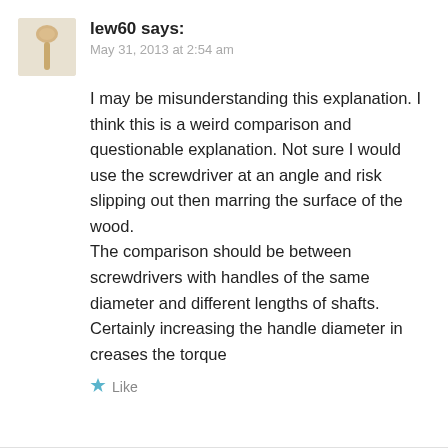lew60 says:
May 31, 2013 at 2:54 am
I may be misunderstanding this explanation. I think this is a weird comparison and questionable explanation. Not sure I would use the screwdriver at an angle and risk slipping out then marring the surface of the wood.
The comparison should be between screwdrivers with handles of the same diameter and different lengths of shafts. Certainly increasing the handle diameter in creases the torque
Like